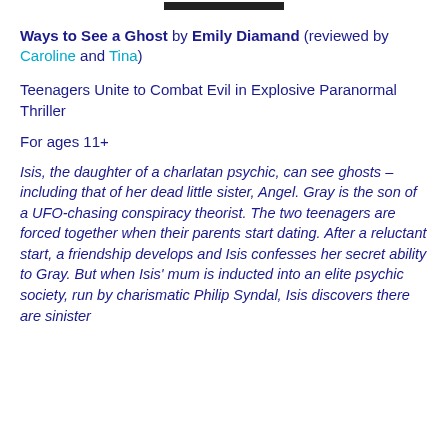[Figure (photo): Partial image at top of page, dark/black background, appears to be a book cover image cropped at top]
Ways to See a Ghost by Emily Diamand (reviewed by Caroline and Tina)
Teenagers Unite to Combat Evil in Explosive Paranormal Thriller
For ages 11+
Isis, the daughter of a charlatan psychic, can see ghosts – including that of her dead little sister, Angel. Gray is the son of a UFO-chasing conspiracy theorist. The two teenagers are forced together when their parents start dating. After a reluctant start, a friendship develops and Isis confesses her secret ability to Gray. But when Isis' mum is inducted into an elite psychic society, run by charismatic Philip Syndal, Isis discovers there are sinister